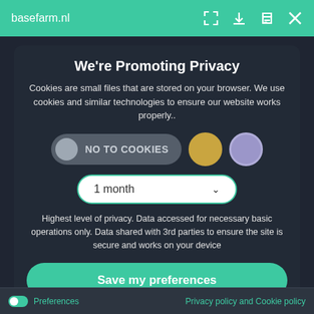basefarm.nl
We're Promoting Privacy
Cookies are small files that are stored on your browser. We use cookies and similar technologies to ensure our website works properly..
NO TO COOKIES
1 month
Highest level of privacy. Data accessed for necessary basic operations only. Data shared with 3rd parties to ensure the site is secure and works on your device
Save my preferences
Preferences   Privacy policy and Cookie policy